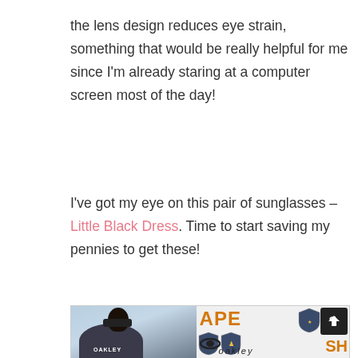the lens design reduces eye strain, something that would be really helpful for me since I'm already staring at a computer screen most of the day!
I've got my eye on this pair of sunglasses – Little Black Dress. Time to start saving my pennies to get these!
[Figure (photo): Two-panel photo collage: left shows a person wearing sunglasses in front of an Oakley dome tent; right shows Oakley branding with 'APE' text in orange and Oakley oval logo.]